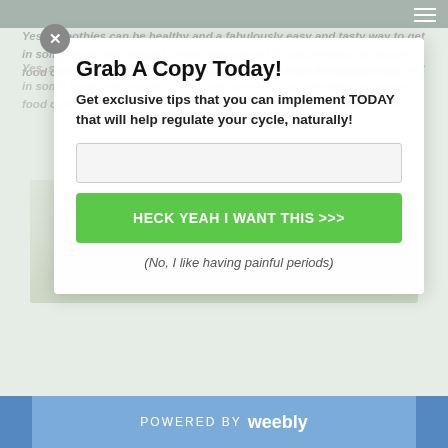Grab A Copy Today!
Get exclusive tips that you can implement TODAY that will help regulate your cycle, naturally!
[Figure (screenshot): Email input field for capturing leads]
HECK YEAH I WANT THIS >>>
(No, I like having painful periods)
Yes, smoothies can be healthy and a fabulously easy and tasty way to get in some fruits and veggies (hello leafy greens!), but drinking too much food can contribute to a weight problem and feelings of sluggishness.
POWERED BY weebly